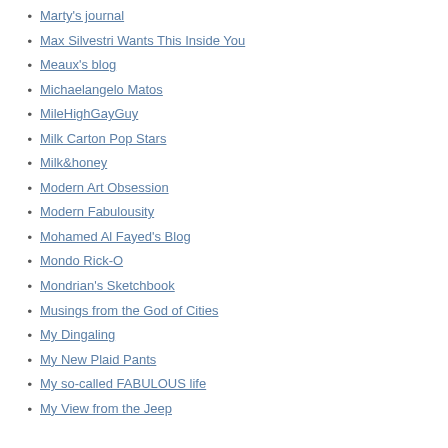Marty's journal
Max Silvestri Wants This Inside You
Meaux's blog
Michaelangelo Matos
MileHighGayGuy
Milk Carton Pop Stars
Milk&honey
Modern Art Obsession
Modern Fabulousity
Mohamed Al Fayed's Blog
Mondo Rick-O
Mondrian's Sketchbook
Musings from the God of Cities
My Dingaling
My New Plaid Pants
My so-called FABULOUS life
My View from the Jeep